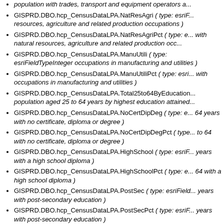population with trades, transport and equipment operators a...
GISPRD.DBO.hcp_CensusDataLPA.NatResAgri ( type: esriF... resources, agriculture and related production occupations )
GISPRD.DBO.hcp_CensusDataLPA.NatResAgriPct ( type: e... with natural resources, agriculture and related production occ... )
GISPRD.DBO.hcp_CensusDataLPA.ManuUtili ( type: esriFieldTypeInteger ) occupations in manufacturing and utilities )
GISPRD.DBO.hcp_CensusDataLPA.ManuUtiliPct ( type: esri... with occupations in manufacturing and utilities )
GISPRD.DBO.hcp_CensusDataLPA.Total25to64ByEducation... population aged 25 to 64 years by highest education attained...
GISPRD.DBO.hcp_CensusDataLPA.NoCertDipDeg ( type: e... 64 years with no certificate, diploma or degree )
GISPRD.DBO.hcp_CensusDataLPA.NoCertDipDegPct ( type... to 64 with no certificate, diploma or degree )
GISPRD.DBO.hcp_CensusDataLPA.HighSchool ( type: esriF... years with a high school diploma )
GISPRD.DBO.hcp_CensusDataLPA.HighSchoolPct ( type: e... 64 with a high school diploma )
GISPRD.DBO.hcp_CensusDataLPA.PostSec ( type: esriField... years with post-secondary education )
GISPRD.DBO.hcp_CensusDataLPA.PostSecPct ( type: esriF... years with post-secondary education )
GISPRD.DBO.hcp_CensusDataLPA.TotalEmpModeTraveltoW... population by mode of travel to work )
GISPRD.DBO.hcp_CensusDataLPA.DriverCarTruckVan ( type...